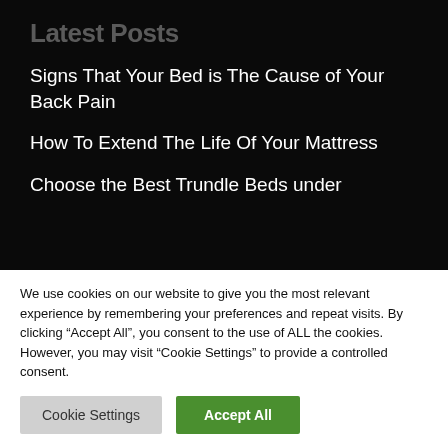Latest Posts
Signs That Your Bed is The Cause of Your Back Pain
How To Extend The Life Of Your Mattress
Choose the Best Trundle Beds under
We use cookies on our website to give you the most relevant experience by remembering your preferences and repeat visits. By clicking “Accept All”, you consent to the use of ALL the cookies. However, you may visit "Cookie Settings" to provide a controlled consent.
Cookie Settings | Accept All